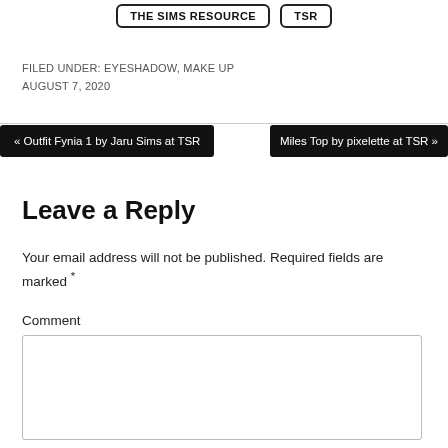THE SIMS RESOURCE   TSR
FILED UNDER: EYESHADOW, MAKE UP
AUGUST 7, 2020
« Outfit Fynia 1 by Jaru Sims at TSR
Miles Top by pixelette at TSR »
Leave a Reply
Your email address will not be published. Required fields are marked *
Comment